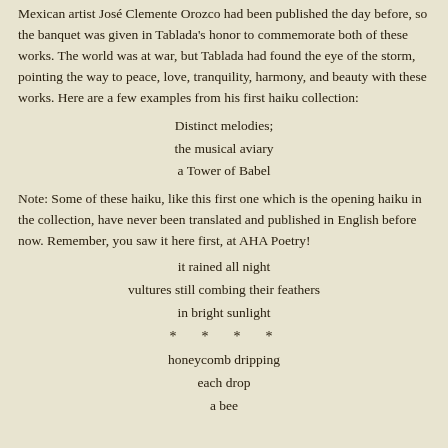Mexican artist José Clemente Orozco had been published the day before, so the banquet was given in Tablada's honor to commemorate both of these works. The world was at war, but Tablada had found the eye of the storm, pointing the way to peace, love, tranquility, harmony, and beauty with these works. Here are a few examples from his first haiku collection:
Distinct melodies;
the musical aviary
a Tower of Babel
Note: Some of these haiku, like this first one which is the opening haiku in the collection, have never been translated and published in English before now. Remember, you saw it here first, at AHA Poetry!
it rained all night
vultures still combing their feathers
in bright sunlight
* * * *
honeycomb dripping
each drop
a bee